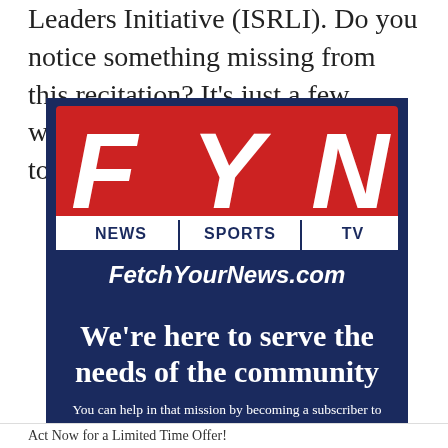Leaders Initiative (ISRLI). Do you notice something missing from this recitation? It's just a few words, obviously inconsequential to this
[Figure (logo): FYN (Fetch Your News) advertisement card on dark navy background with FYN logo in red, tagline 'We're here to serve the needs of the community', and subscription call-to-action text]
Act Now for a Limited Time Offer!